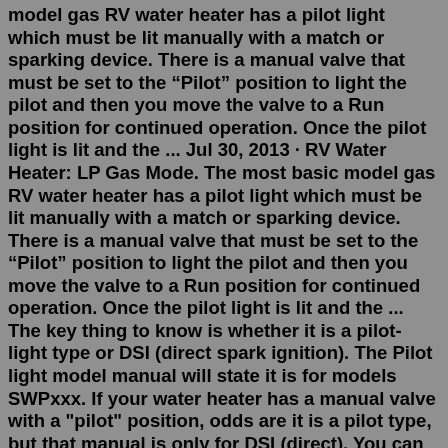model gas RV water heater has a pilot light which must be lit manually with a match or sparking device. There is a manual valve that must be set to the “Pilot” position to light the pilot and then you move the valve to a Run position for continued operation. Once the pilot light is lit and the ... Jul 30, 2013 · RV Water Heater: LP Gas Mode. The most basic model gas RV water heater has a pilot light which must be lit manually with a match or sparking device. There is a manual valve that must be set to the “Pilot” position to light the pilot and then you move the valve to a Run position for continued operation. Once the pilot light is lit and the ... The key thing to know is whether it is a pilot-light type or DSI (direct spark ignition). The Pilot light model manual will state it is for models SWPxxx. If your water heater has a manual valve with a "pilot" position, odds are it is a pilot type, but that manual is only for DSI (direct). You can get a Pilot model manual at the link below.Got the DSI Fault light as well (no longer on). I can hear it try to ignite so I know it is getting power, but won’t light off.